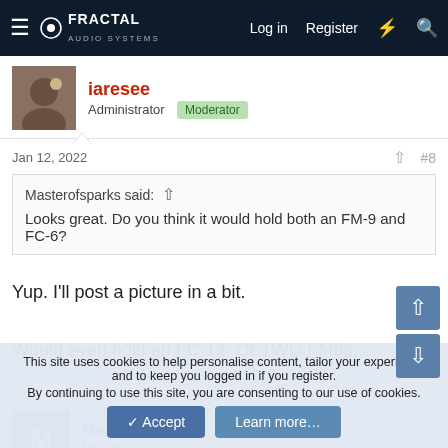Fractal Audio Systems — Log in | Register
iaresee
Administrator  Moderator
Jan 12, 2022   #8
Masterofsparks said:
Looks great. Do you think it would hold both an FM-9 and FC-6?
Yup. I'll post a picture in a bit.
Would even hold an FC-12. Or TWO FM9s.
Masterofsparks
Member
This site uses cookies to help personalise content, tailor your experience and to keep you logged in if you register.
By continuing to use this site, you are consenting to our use of cookies.